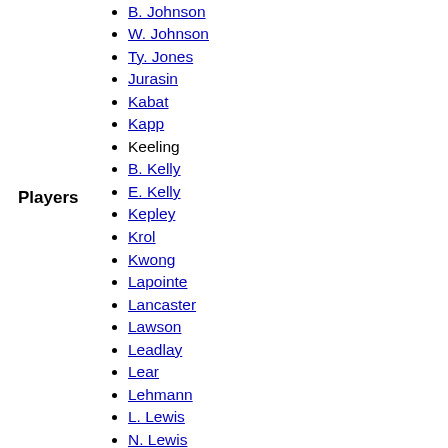Players
A. Johnson
B. Johnson
W. Johnson
Ty. Jones
Jurasin
Kabat
Kapp
Keeling
B. Kelly
E. Kelly
Kepley
Krol
Kwong
Lapointe
Lancaster
Lawson
Leadlay
Lear
Lehmann
L. Lewis
N. Lewis
Lumsden
Lunsford
Luster
Luzzi